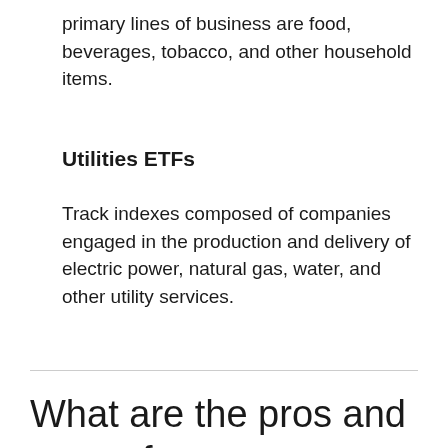primary lines of business are food, beverages, tobacco, and other household items.
Utilities ETFs
Track indexes composed of companies engaged in the production and delivery of electric power, natural gas, water, and other utility services.
What are the pros and cons of